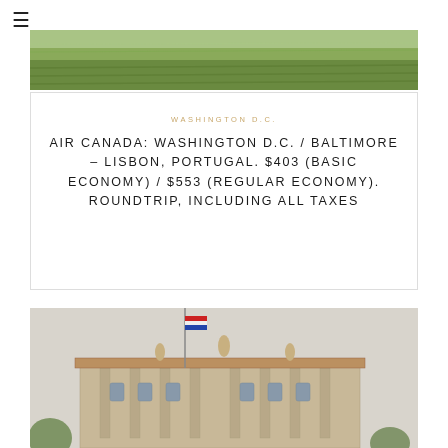≡
[Figure (photo): Aerial or landscape photo showing green fields with rows of crops or irrigation channels]
WASHINGTON D.C.
AIR CANADA: WASHINGTON D.C. / BALTIMORE – LISBON, PORTUGAL. $403 (BASIC ECONOMY) / $553 (REGULAR ECONOMY). ROUNDTRIP, INCLUDING ALL TAXES
[Figure (photo): Photograph of a grand classical building with statues on the roof, flags in the foreground, likely a government or cultural building in Lisbon, Portugal]